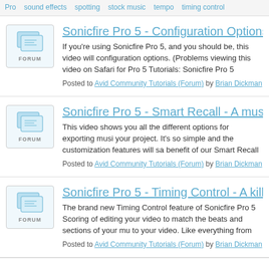Pro  sound effects  spotting  stock music  tempo  timing control
Sonicfire Pro 5 - Configuration Options
If you're using Sonicfire Pro 5, and you should be, this video will configuration options. (Problems viewing this video on Safari for Pro 5 Tutorials: Sonicfire Pro 5 Express Track Edition (Free with
Posted to Avid Community Tutorials (Forum) by Brian Dickman on Tue, Jan 6 20
Sonicfire Pro 5 - Smart Recall - A music wo
This video shows you all the different options for exporting musi your project. It's so simple and the customization features will sa benefit of our Smart Recall feature. If you've ever wanted to cha
Posted to Avid Community Tutorials (Forum) by Brian Dickman on Tue, Jan 6 20
Sonicfire Pro 5 - Timing Control - A killer fe
The brand new Timing Control feature of Sonicfire Pro 5 Scoring of editing your video to match the beats and sections of your mu to your video. Like everything from SmartSound, it's simple, pow
Posted to Avid Community Tutorials (Forum) by Brian Dickman on Tue, Jan 6 20